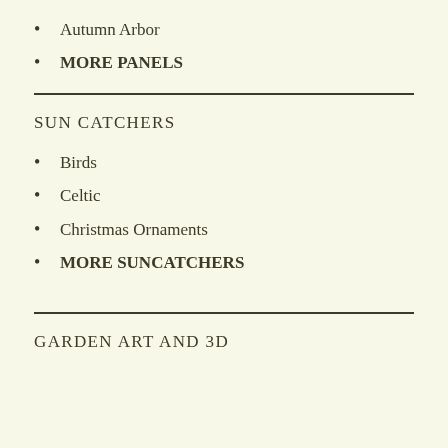Autumn Arbor
MORE PANELS
SUN CATCHERS
Birds
Celtic
Christmas Ornaments
MORE SUNCATCHERS
GARDEN ART AND 3D